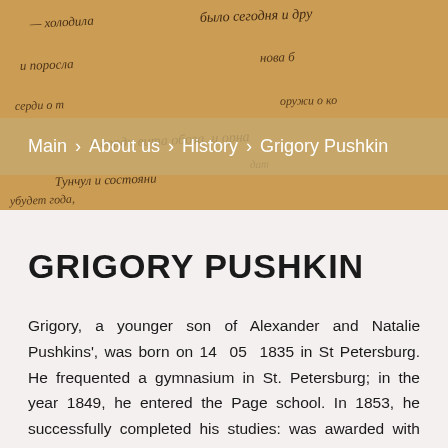[Figure (photo): Background image of old handwritten manuscript pages in cursive Russian script on aged parchment-colored paper]
Main  >  About us  >  History  >  Grigory Pushkin
GRIGORY PUSHKIN
Grigory, a younger son of Alexander and Natalie Pushkins', was born on 14 05 1835 in St Petersburg. He frequented a gymnasium in St. Petersburg; in the year 1849, he entered the Page school. In 1853, he successfully completed his studies: was awarded with the rank of a cornet and appointed to the privileged cavalrymen's regiment of the Life